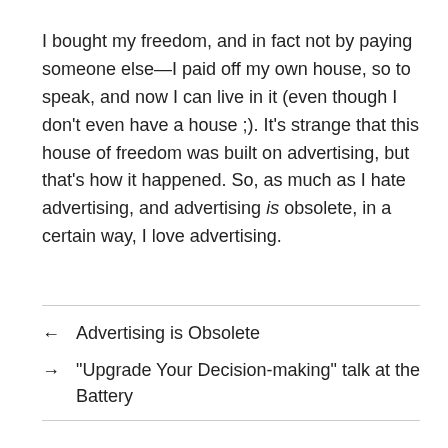I bought my freedom, and in fact not by paying someone else—I paid off my own house, so to speak, and now I can live in it (even though I don't even have a house ;). It's strange that this house of freedom was built on advertising, but that's how it happened. So, as much as I hate advertising, and advertising is obsolete, in a certain way, I love advertising.
← Advertising is Obsolete
→ "Upgrade Your Decision-making" talk at the Battery